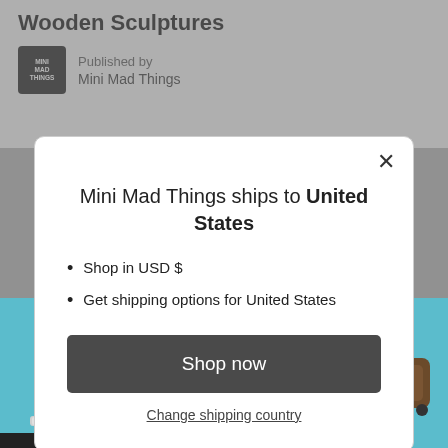Wooden Sculptures
Published by
Mini Mad Things
Mini Mad Things ships to United States
Shop in USD $
Get shipping options for United States
Shop now
Change shipping country